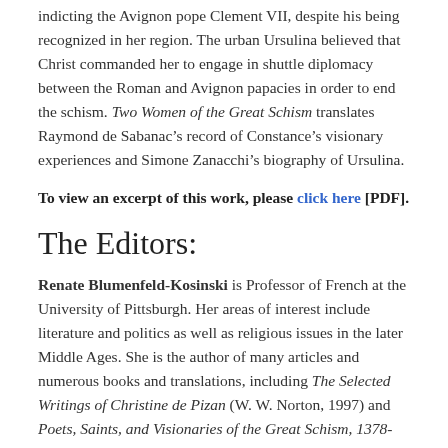indicting the Avignon pope Clement VII, despite his being recognized in her region. The urban Ursulina believed that Christ commanded her to engage in shuttle diplomacy between the Roman and Avignon papacies in order to end the schism. Two Women of the Great Schism translates Raymond de Sabanac’s record of Constance’s visionary experiences and Simone Zanacchi’s biography of Ursulina.
To view an excerpt of this work, please click here [PDF].
The Editors:
Renate Blumenfeld-Kosinski is Professor of French at the University of Pittsburgh. Her areas of interest include literature and politics as well as religious issues in the later Middle Ages. She is the author of many articles and numerous books and translations, including The Selected Writings of Christine de Pizan (W. W. Norton, 1997) and Poets, Saints, and Visionaries of the Great Schism, 1378-1417